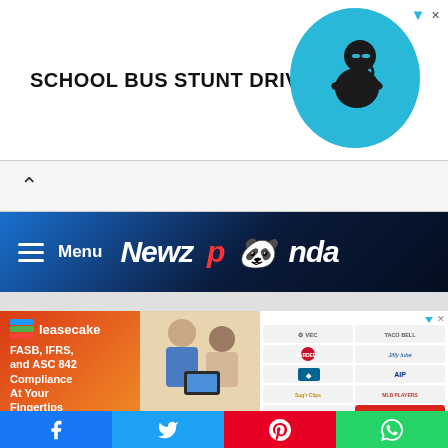[Figure (screenshot): Top advertisement banner with text 'SCHOOL BUS STUNT DRIVER?' and a person on a teal/cyan circular background driving a bus]
[Figure (screenshot): Collapse/minimize arrow bar with up-caret symbol]
Menu  Newzpanda
[Figure (screenshot): Leasecake advertisement: FASB, IFRS, and ASC 842 Compliance At Your Fingertips, with brand logos including Jiffy Lube, Domino's, AIP, Burger King, Qdoba, Starbucks]
[Figure (screenshot): Social sharing buttons: Facebook, Twitter, Pinterest, WhatsApp]